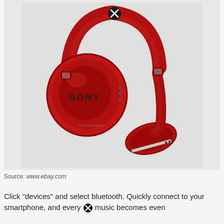[Figure (photo): Red Sony over-ear Bluetooth headphones (MDR-XB650BT or similar) photographed against a light grey background. The left ear cup faces forward showing the SONY logo. The right ear cup rests below, showing control buttons and a silver accent strip. A black circle with white X (close/dismiss button) appears at the top center of the image.]
Source: www.ebay.com
Click "devices" and select bluetooth. Quickly connect to your smartphone, and everyday music becomes even